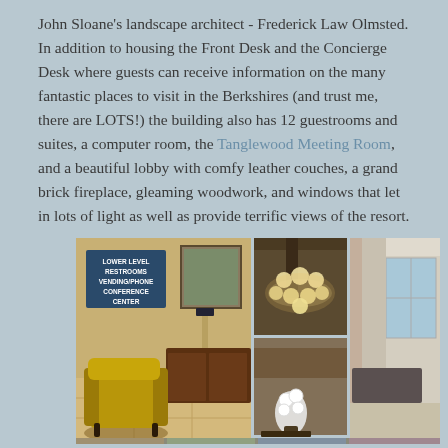John Sloane's landscape architect - Frederick Law Olmsted. In addition to housing the Front Desk and the Concierge Desk where guests can receive information on the many fantastic places to visit in the Berkshires (and trust me, there are LOTS!) the building also has 12 guestrooms and suites, a computer room, the Tanglewood Meeting Room, and a beautiful lobby with comfy leather couches, a grand brick fireplace, gleaming woodwork, and windows that let in lots of light as well as provide terrific views of the resort.
[Figure (photo): Collage of four interior hotel/resort photos: top-left shows a lobby seating area with an armchair, wooden desk, lamp, and wall sign reading 'LOWER LEVEL RESTROOMS VENDING/PHONE CONFERENCE CENTER'; top-right shows a close-up of an ornate chandelier with globe lights on a wood-beamed ceiling; bottom-right shows a wide lobby/meeting room interior with windows and a piano; bottom-middle shows a lobby area with white orchid flower arrangement and seating.]